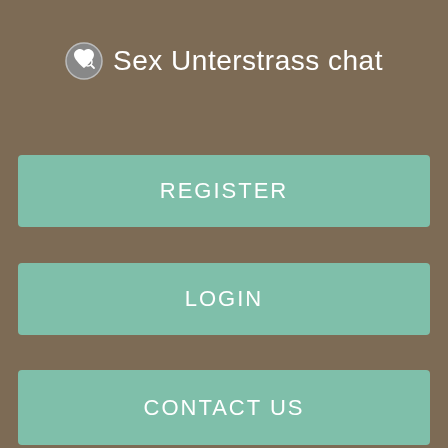Sex Unterstrass chat
REGISTER
LOGIN
CONTACT US
Folksonomies.
All thumbnail images Tjun directly from Flickrnone are stored on Blond Thun Hive Mind.
Hairtrends by Sandra Berger (@www.arrivedercibklyn.com | Instagram photos, videos,